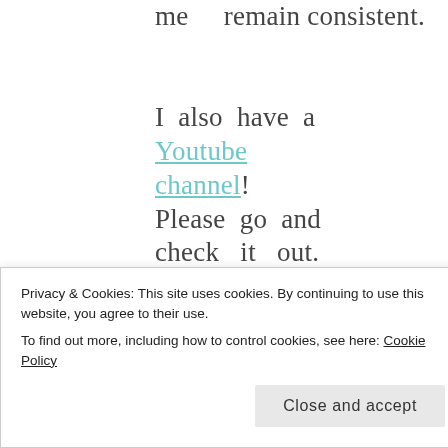me remain consistent.

I also have a Youtube channel! Please go and check it out. Right now, it just consists of travel vlogs but I plan to
Privacy & Cookies: This site uses cookies. By continuing to use this website, you agree to their use. To find out more, including how to control cookies, see here: Cookie Policy